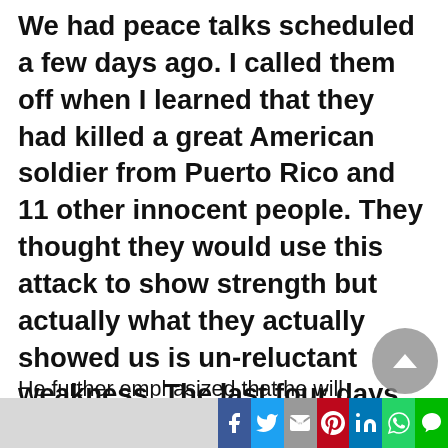We had peace talks scheduled a few days ago. I called them off when I learned that they had killed a great American soldier from Puerto Rico and 11 other innocent people. They thought they would use this attack to show strength but actually what they actually showed us is un-reluctant weakness. The last four days we had hit our enemy harder than they have ever been hit before and that will continue.
He further emphasized that he will not use nuclear weapons to show American strength, but that the